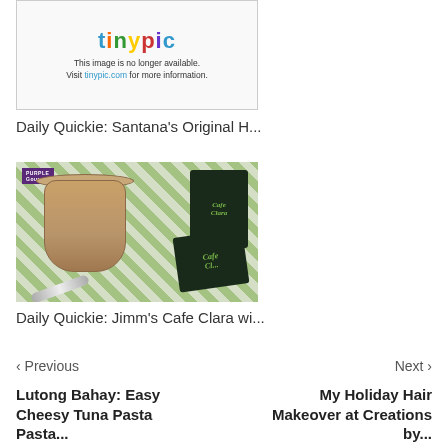[Figure (screenshot): Tinypic placeholder image with logo and message: This image is no longer available. Visit tinypic.com for more information.]
Daily Quickie: Santana's Original H...
[Figure (photo): Photo of a glass mug with a milky coffee drink on a green checkered tablecloth, with Cafe Clara product boxes in the background. Purple Gourmet watermark in top left.]
Daily Quickie: Jimm's Cafe Clara wi...
‹ Previous
Next ›
Lutong Bahay: Easy Cheesy Tuna Pasta Pasta...
My Holiday Hair Makeover at Creations by...